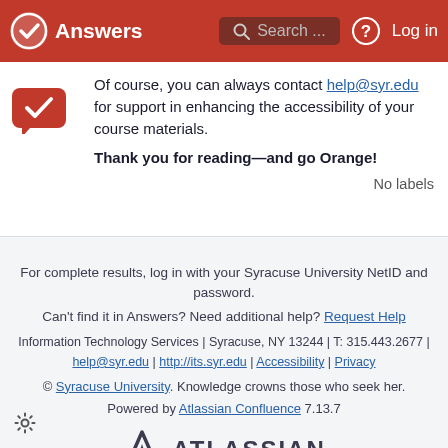Answers  Search...  Log in
Of course, you can always contact help@syr.edu for support in enhancing the accessibility of your course materials.

Thank you for reading—and go Orange!

No labels
For complete results, log in with your Syracuse University NetID and password.
Can't find it in Answers? Need additional help? Request Help
Information Technology Services | Syracuse, NY 13244 | T: 315.443.2677 | help@syr.edu | http://its.syr.edu | Accessibility | Privacy
© Syracuse University. Knowledge crowns those who seek her.
Powered by Atlassian Confluence 7.13.7
[Figure (logo): Atlassian logo with mountain triangle icon and bold text ATLASSIAN]